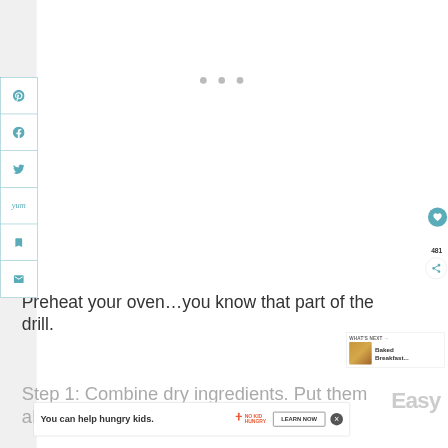[Figure (screenshot): Social media sharing sidebar with Pinterest, Facebook, Twitter, Yum, and email/bookmark icons in teal colored bordered buttons]
Preheat your oven…you know that part of the drill.
[Figure (infographic): WHAT'S NEXT arrow with Baked Breakfast... thumbnail image]
Step 1: Combine dry ingredients. Put them all in a
[Figure (screenshot): Advertisement banner: You can help hungry kids. No Kid Hungry logo. LEARN NOW button.]